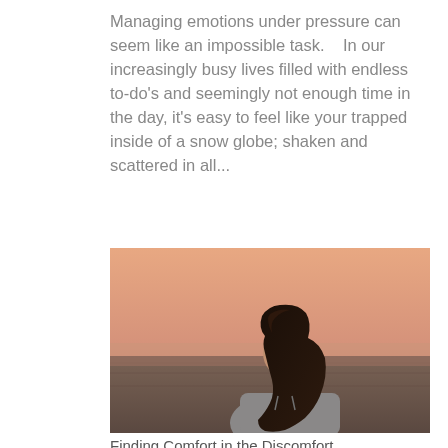Managing emotions under pressure can seem like an impossible task.    In our increasingly busy lives filled with endless to-do's and seemingly not enough time in the day, it's easy to feel like your trapped inside of a snow globe; shaken and scattered in all...
[Figure (photo): A young woman with long dark hair seen from behind/side profile, gazing into a misty horizon over flat landscape with warm peachy-orange sky at sunset or sunrise.]
Finding Comfort in the Discomfort